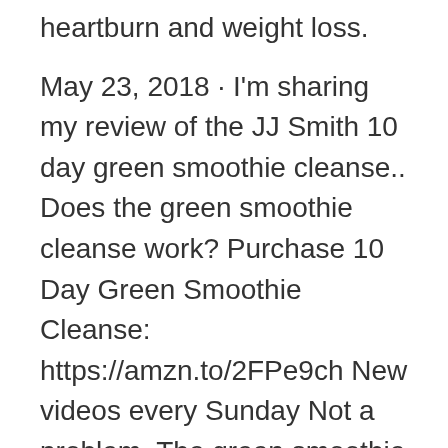heartburn and weight loss.
May 23, 2018 · I'm sharing my review of the JJ Smith 10 day green smoothie cleanse.. Does the green smoothie cleanse work? Purchase 10 Day Green Smoothie Cleanse: https://amzn.to/2FPe9ch New videos every Sunday Not a problem. The green smoothie cleanse also offers a thirty day challenge which is completely safe and well designed for maximum weight loss. The 30 day cleanse consists of three 10-day cleanses with a rest period between each cleanse of between three to five ...
Start your review of 10 Day Green